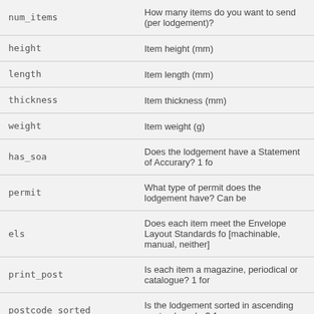| Field | Description |
| --- | --- |
| num_items | How many items do you want to send (per lodgement)? |
| height | Item height (mm) |
| length | Item length (mm) |
| thickness | Item thickness (mm) |
| weight | Item weight (g) |
| has_soa | Does the lodgement have a Statement of Accurary? 1 fo |
| permit | What type of permit does the lodgement have? Can be |
| els | Does each item meet the Envelope Layout Standards fo [machinable, manual, neither] |
| print_post | Is each item a magazine, periodical or catalogue? 1 for |
| postcode_sorted | Is the lodgement sorted in ascending postcode order? 1 |
| delivery_sorted | Is the lodgement sorted in delivery sequence order? 1 f |